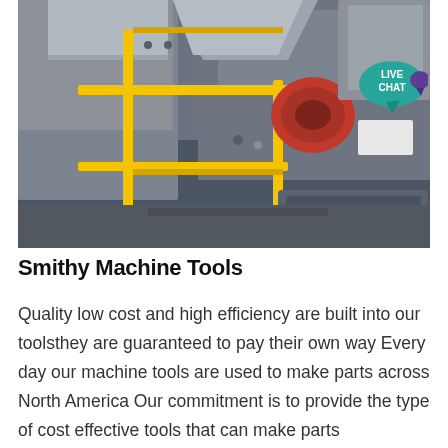[Figure (photo): Industrial machine equipment photo showing large grey metal machinery with yellow safety railings, a red motor component visible, taken from above/side angle in an industrial facility.]
Smithy Machine Tools
Quality low cost and high efficiency are built into our toolsthey are guaranteed to pay their own way Every day our machine tools are used to make parts across North America Our commitment is to provide the type of cost effective tools that can make parts